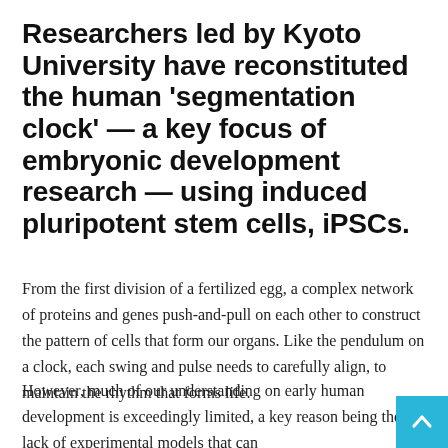Researchers led by Kyoto University have reconstituted the human 'segmentation clock' — a key focus of embryonic development research — using induced pluripotent stem cells, iPSCs.
From the first division of a fertilized egg, a complex network of proteins and genes push-and-pull on each other to construct the pattern of cells that form our organs. Like the pendulum on a clock, each swing and pulse needs to carefully align, to maintain the rhythm that forms life.
However, much of our understanding on early human development is exceedingly limited, a key reason being the lack of experimental models that can